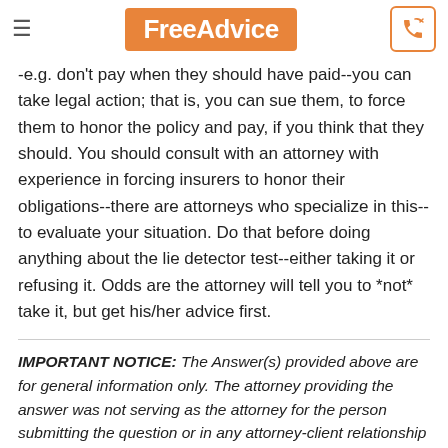FreeAdvice
-e.g. don't pay when they should have paid--you can take legal action; that is, you can sue them, to force them to honor the policy and pay, if you think that they should. You should consult with an attorney with experience in forcing insurers to honor their obligations--there are attorneys who specialize in this--to evaluate your situation. Do that before doing anything about the lie detector test--either taking it or refusing it. Odds are the attorney will tell you to *not* take it, but get his/her advice first.
IMPORTANT NOTICE: The Answer(s) provided above are for general information only. The attorney providing the answer was not serving as the attorney for the person submitting the question or in any attorney-client relationship with such person.